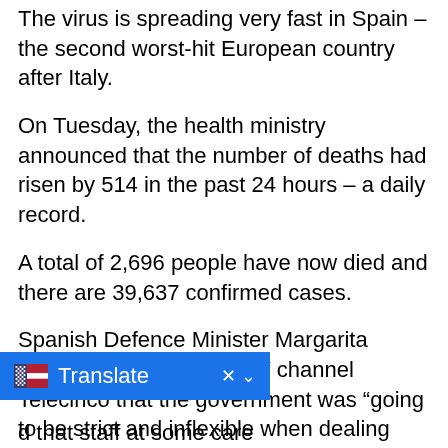The virus is spreading very fast in Spain – the second worst-hit European country after Italy.
On Tuesday, the health ministry announced that the number of deaths had risen by 514 in the past 24 hours – a daily record.
A total of 2,696 people have now died and there are 39,637 confirmed cases.
Spanish Defence Minister Margarita Robles told the private TV channel Telecinco that the government was “going to be strict and inflexible when dealing with the way older people are treated” in retirement homes.
“The army, during certain visits, found some older people completely abandoned, sometimes even dead in their beds,” she said.
d that staff at some care